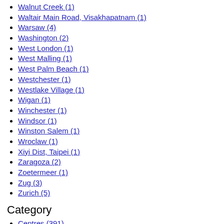Walnut Creek (1)
Waltair Main Road, Visakhapatnam (1)
Warsaw (4)
Washington (2)
West London (1)
West Malling (1)
West Palm Beach (1)
Westchester (1)
Westlake Village (1)
Wigan (1)
Winchester (1)
Windsor (1)
Winston Salem (1)
Wroclaw (1)
Xiyi Dist, Taipei (1)
Zaragoza (2)
Zoetermeer (1)
Zug (3)
Zurich (5)
Category
Centres (391)
Corporate (100)
Technology & Innovation (24)